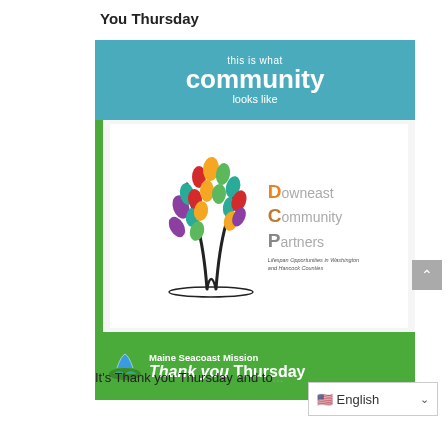You Thursday
[Figure (illustration): Maine Seacoast Mission Thank you Thursday promotional image featuring 'this is what community looks like' teal banner at top, Downeast Community Partners logo with colorful tree in white middle section, and green bottom banner with Maine Seacoast Mission Thank you Thursday text.]
It's Thank you Thursday and to...
English (language selector dropdown)